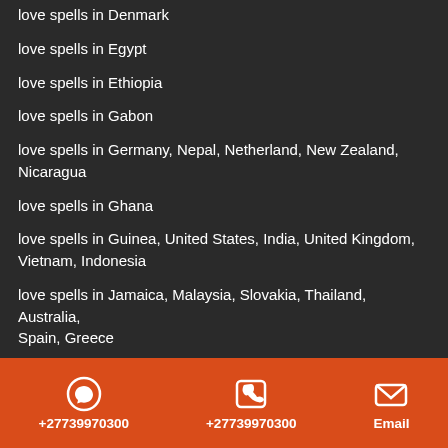love spells in Denmark
love spells in Egypt
love spells in Ethiopia
love spells in Gabon
love spells in Germany, Nepal, Netherland, New Zealand, Nicaragua
love spells in Ghana
love spells in Guinea, United States, India, United Kingdom, Vietnam, Indonesia
love spells in Jamaica, Malaysia, Slovakia, Thailand, Australia, Spain, Greece
love spells in Johannesburg, Lenasia, Midrand, Roodepoort, Soweto, Mshongo
love spells in Kuwait, Australia, Malta, Cyprus, Gibraltar, Norway, Sweden
+27739970300  +27739970300  Email